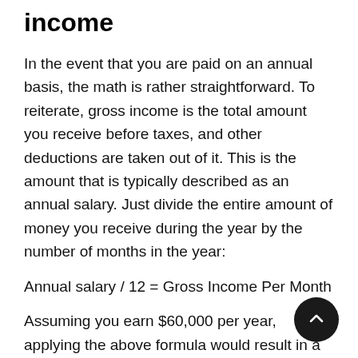income
In the event that you are paid on an annual basis, the math is rather straightforward. To reiterate, gross income is the total amount you receive before taxes, and other deductions are taken out of it. This is the amount that is typically described as an annual salary. Just divide the entire amount of money you receive during the year by the number of months in the year:
Assuming you earn $60,000 per year, applying the above formula would result in a monthly gross income of $5,000.
For example, ...